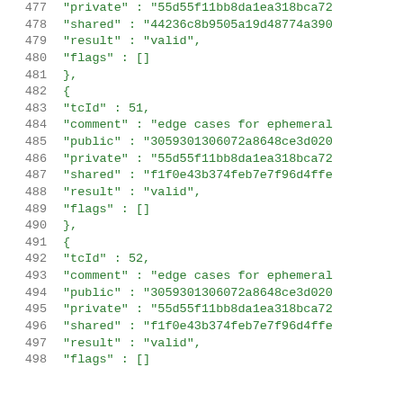Code listing lines 477-498 showing JSON test case data with tcId, comment, public, private, shared, result, and flags fields